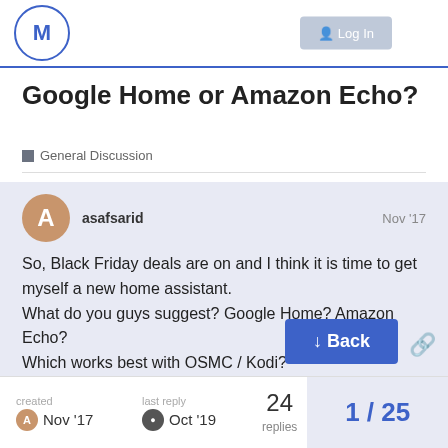M logo, Log In button
Google Home or Amazon Echo?
General Discussion
asafsarid  Nov '17
So, Black Friday deals are on and I think it is time to get myself a new home assistant.
What do you guys suggest? Google Home? Amazon Echo?
Which works best with OSMC / Kodi?
created Nov '17  last reply Oct '19  24 replies  1 / 25